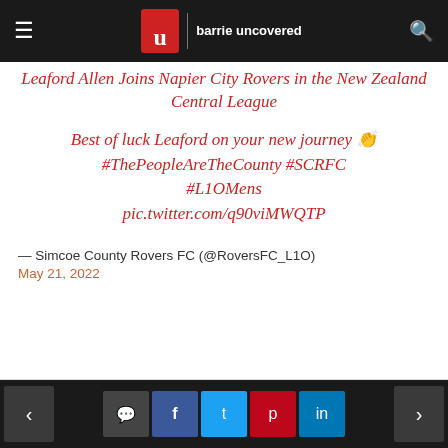barrie uncovered
Leaford Allen Joins Napier City Rovers in the New Zealand Central League
Best of luck Leaford on your new journey 👏 #ThePeopleAreTheCounty #SCRFC #L1OMens pic.twitter.com/q90viMWQTP
— Simcoe County Rovers FC (@RoversFC_L1O) May 21, 2022
< comment f t p in >